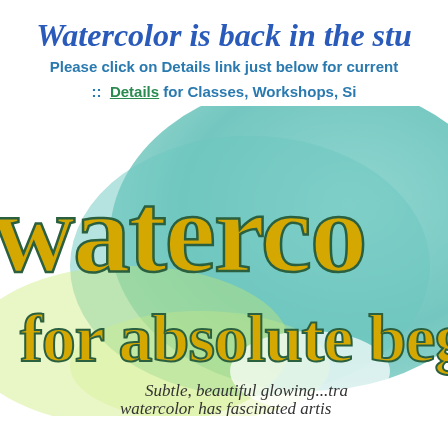Watercolor is back in the stu...
Please click on Details link just below for current...
:: Details for Classes, Workshops, Si...
[Figure (illustration): Watercolor-style background in teal/turquoise and yellow-green with large decorative text reading 'waterco...' and 'for absolute beg...' in gold/yellow with dark green outline, followed by handwritten-style italic text 'Subtle, beautiful glowing...tra...' and 'watercolor has fascinated artis...']